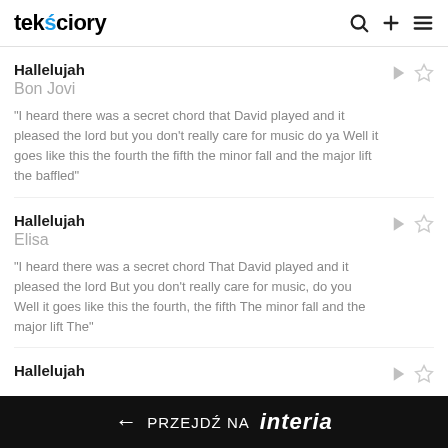tekściory
Hallelujah
Bon Jovi
"I heard there was a secret chord that David played and it pleased the lord but you don't really care for music do ya Well it goes like this the fourth the fifth the minor fall and the major lift the baffled"
Hallelujah
Elisa
"I heard there was a secret chord That David played and it pleased the lord But you don't really care for music, do you Well it goes like this the fourth, the fifth The minor fall and the major lift The"
Hallelujah
← PRZEJDŹ NA interia